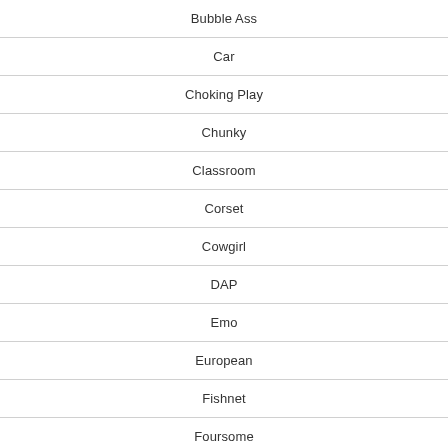Bubble Ass
Car
Choking Play
Chunky
Classroom
Corset
Cowgirl
DAP
Emo
European
Fishnet
Foursome